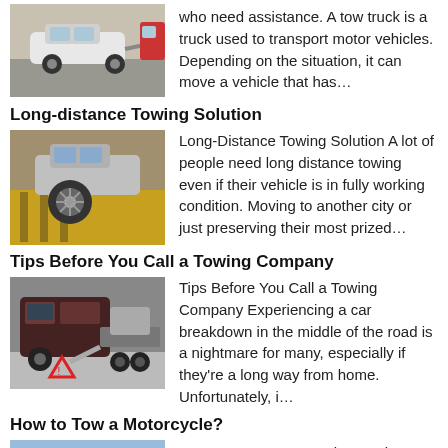[Figure (photo): Tow truck transporting a white vehicle, seen from rear]
who need assistance. A tow truck is a truck used to transport motor vehicles. Depending on the situation, it can move a vehicle that has…
Long-distance Towing Solution
[Figure (photo): Car wheel on a yellow towing ramp]
Long-Distance Towing Solution A lot of people need long distance towing even if their vehicle is in fully working condition. Moving to another city or just preserving their most prized…
Tips Before You Call a Towing Company
[Figure (photo): Dark van being loaded onto a flatbed tow truck, warning triangle visible]
Tips Before You Call a Towing Company Experiencing a car breakdown in the middle of the road is a nightmare for many, especially if they're a long way from home. Unfortunately, i…
How to Tow a Motorcycle?
[Figure (photo): Motorcycle towing scene with blue sky]
How to Tow a Motorcycle? Seeing a car on the